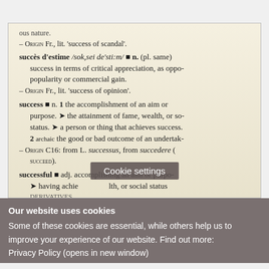[Figure (photo): Close-up photograph of a dictionary page showing definitions for 'succès d'estime', 'success', and 'successful', with a 'Cookie settings' overlay button visible on the image]
Our website uses cookies
Some of these cookies are essential, while others help us to improve your experience of our website. Find out more:
Privacy Policy (opens in new window)